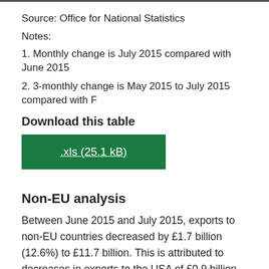Source: Office for National Statistics
Notes:
1. Monthly change is July 2015 compared with June 2015
2. 3-monthly change is May 2015 to July 2015 compared with F
Download this table
.xls (25.1 kB)
Non-EU analysis
Between June 2015 and July 2015, exports to non-EU countries decreased by £1.7 billion (12.6%) to £11.7 billion. This is attributed to decreases in exports to the USA of £0.9 billion, to Switzerland of £0.3 billion, to